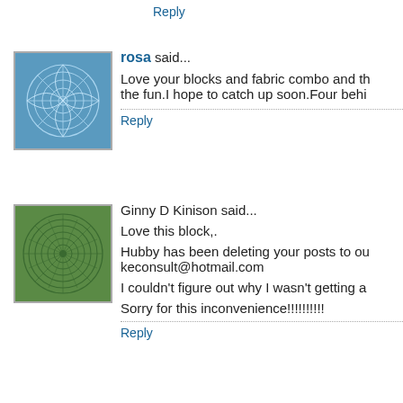Reply
rosa said...
Love your blocks and fabric combo and th... the fun.I hope to catch up soon.Four behi...
Reply
Ginny D Kinison said...
Love this block,.
Hubby has been deleting your posts to ou... keconsult@hotmail.com
I couldn't figure out why I wasn't getting a...
Sorry for this inconvenience!!!!!!!!!
Reply